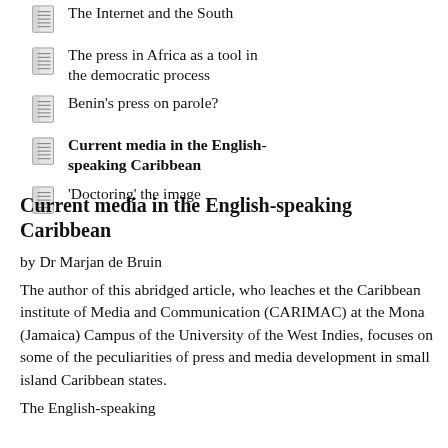The Internet and the South
The press in Africa as a tool in the democratic process
Benin's press on parole?
Current media in the English-speaking Caribbean
'Doctoring' the image
Current media in the English-speaking Caribbean
by Dr Marjan de Bruin
The author of this abridged article, who leaches et the Caribbean institute of Media and Communication (CARIMAC) at the Mona (Jamaica) Campus of the University of the West Indies, focuses on some of the peculiarities of press and media development in small island Caribbean states.
The English-speaking